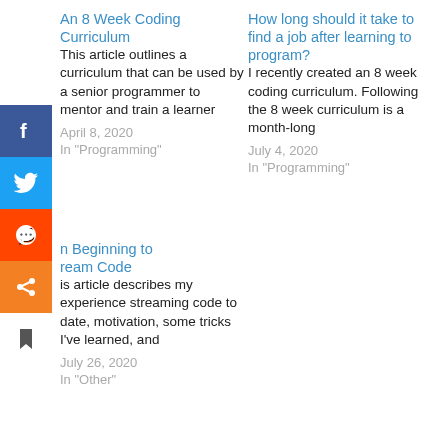An 8 Week Coding Curriculum
This article outlines a curriculum that can be used by a senior programmer to mentor and train a learner
April 8, 2020
In "Programming"
How long should it take to find a job after learning to program?
I recently created an 8 week coding curriculum. Following the 8 week curriculum is a month-long
July 4, 2020
In "Programming"
n Beginning to ream Code
is article describes my experience streaming code to date, motivation, some tricks I've learned, and
July 26, 2020
In "Other"
[Figure (infographic): Social sharing sidebar with Facebook, Twitter, Reddit, Share, and bookmark buttons]